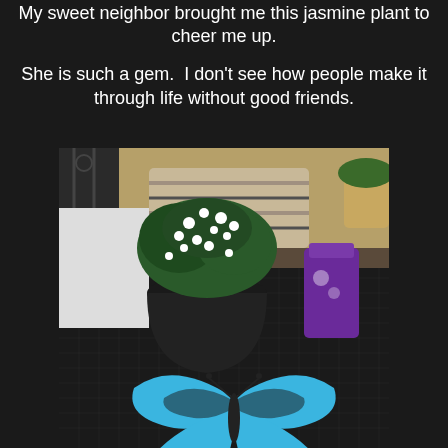My sweet neighbor brought me this jasmine plant to cheer me up.
She is such a gem.  I don't see how people make it through life without good friends.
[Figure (photo): A jasmine plant in a dark round pot with white flowers, sitting on a black mesh table. A blue butterfly decorative cutout is in the foreground, and a purple item is to the right. Outdoor patio setting with a striped pillow and garden background.]